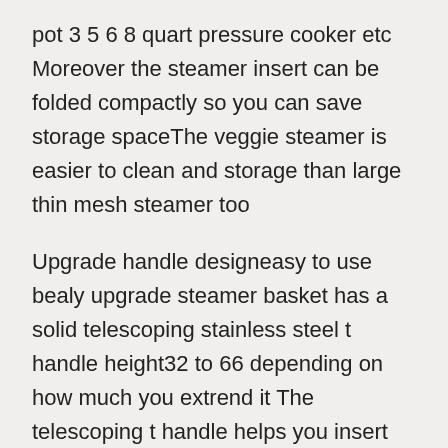pot 3 5 6 8 quart pressure cooker etc Moreover the steamer insert can be folded compactly so you can save storage spaceThe veggie steamer is easier to clean and storage than large thin mesh steamer too
Upgrade handle designeasy to use bealy upgrade steamer basket has a solid telescoping stainless steel t handle height32 to 66 depending on how much you extrend it The telescoping t handle helps you insert the steamer basket to deep pots and keeps your hands away from hot steam When you steam big bulky food you can rotate removing the central handle after cooking just screw in the handle to easily take out the vegetable steamer basket
Healthier cooking choice the small holes on steaming basket are easy steaming and draining Hot steam goes